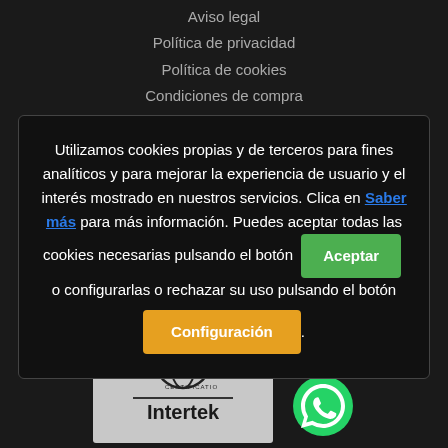Aviso legal
Política de privacidad
Política de cookies
Condiciones de compra
Utilizamos cookies propias y de terceros para fines analíticos y para mejorar la experiencia de usuario y el interés mostrado en nuestros servicios. Clica en Saber más para más información. Puedes aceptar todas las cookies necesarias pulsando el botón Aceptar o configurarlas o rechazar su uso pulsando el botón Configuración.
[Figure (logo): Intertek certification logo with globe icon and Intertek wordmark]